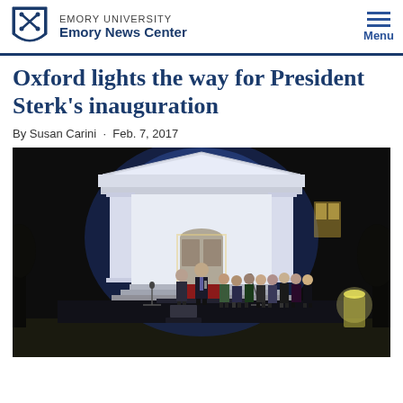EMORY UNIVERSITY
Emory News Center
Oxford lights the way for President Sterk's inauguration
By Susan Carini · Feb. 7, 2017
[Figure (photo): Nighttime outdoor event at Oxford College. A man speaking at a microphone on stage in front of a white columned building illuminated in blue-white light, with a woman beside him and a group of students standing to the right.]